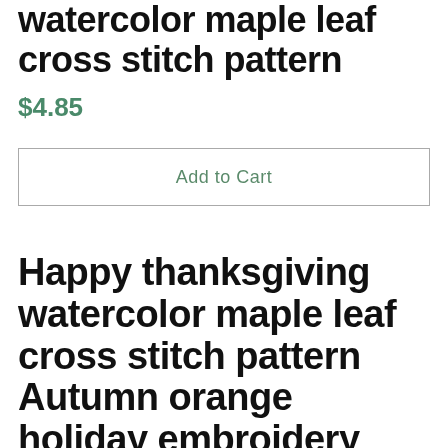watercolor maple leaf cross stitch pattern
$4.85
Add to Cart
Happy thanksgiving watercolor maple leaf cross stitch pattern Autumn orange holiday embroidery design